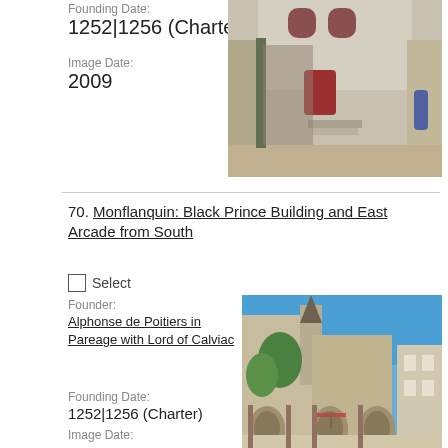Founding Date:
1252|1256 (Charter)
Image Date:
2009
[Figure (photo): Narrow stone alleyway with tall stone walls, a red door, and a multi-arched window on a building facade. A person is visible at the far end.]
70. Monflanquin: Black Prince Building and East Arcade from South
Select
Founder:
Alphonse de Poitiers in Pareage with Lord of Calviac
Founding Date:
1252|1256 (Charter)
Image Date:
2009
[Figure (photo): Medieval stone square with arched arcades, a pointed tower, and blue sky. Tables with umbrellas visible under the arches.]